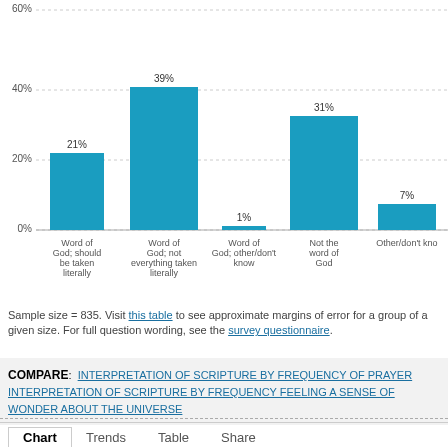[Figure (bar-chart): Interpretation of Scripture]
Sample size = 835. Visit this table to see approximate margins of error for a group of a given size. For full question wording, see the survey questionnaire.
COMPARE: INTERPRETATION OF SCRIPTURE BY FREQUENCY OF PRAYER  INTERPRETATION OF SCRIPTURE BY FREQUENCY FEELING A SENSE OF WONDER ABOUT THE UNIVERSE